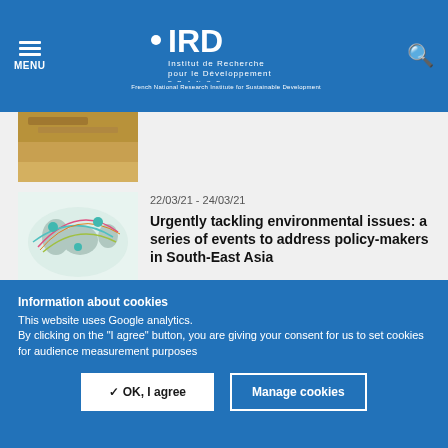IRD - Institut de Recherche pour le Développement FRANCE - French National Research Institute for Sustainable Development
[Figure (photo): Partial view of a sandy/earthy ground photo at the top left of the content area]
22/03/21 - 24/03/21
Urgently tackling environmental issues: a series of events to address policy-makers in South-East Asia
[Figure (illustration): C Forum on Development 2021 event thumbnail showing a world map with colorful arc lines connecting regions]
Information about cookies
This website uses Google analytics.
By clicking on the "I agree" button, you are giving your consent for us to set cookies for audience measurement purposes